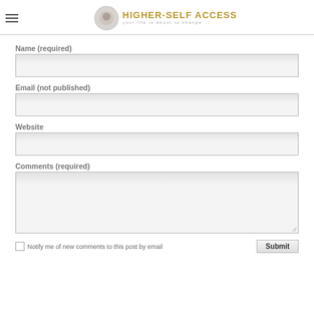HIGHER-SELF ACCESS — your life is about to change
Name (required)
Email (not published)
Website
Comments (required)
Notify me of new comments to this post by email
Submit